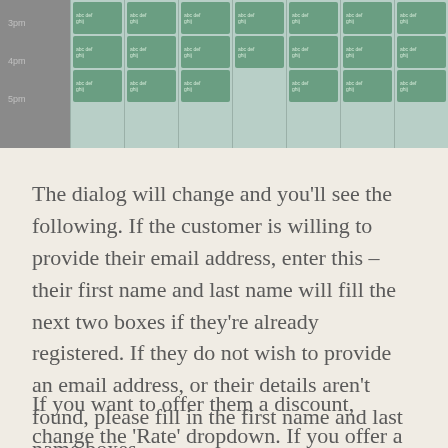[Figure (screenshot): Partial screenshot of a scheduling/calendar grid interface with gray left panel showing time labels (3pm, 4pm, 5pm) and green appointment cells in a teal grid area]
The dialog will change and you'll see the following. If the customer is willing to provide their email address, enter this – their first name and last name will fill the next two boxes if they're already registered. If they do not wish to provide an email address, or their details aren't found, please fill in the first name and last name boxes.
If you want to offer them a discount, change the 'Rate' dropdown. If you offer a discounted